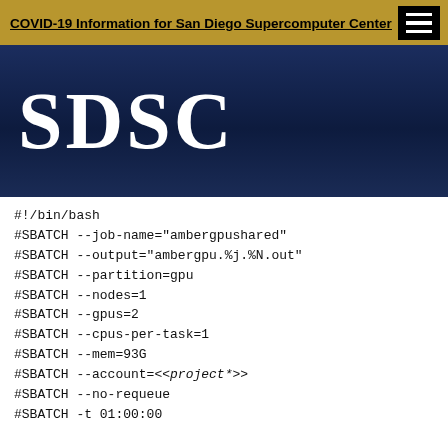COVID-19 Information for San Diego Supercomputer Center
[Figure (logo): SDSC logo — white bold serif letters on dark navy gradient background]
#!/bin/bash
#SBATCH --job-name="ambergpushared"
#SBATCH --output="ambergpu.%j.%N.out"
#SBATCH --partition=gpu
#SBATCH --nodes=1
#SBATCH --gpus=2
#SBATCH --cpus-per-task=1
#SBATCH --mem=93G
#SBATCH --account=<<project*>>
#SBATCH --no-requeue
#SBATCH -t 01:00:00

module purge